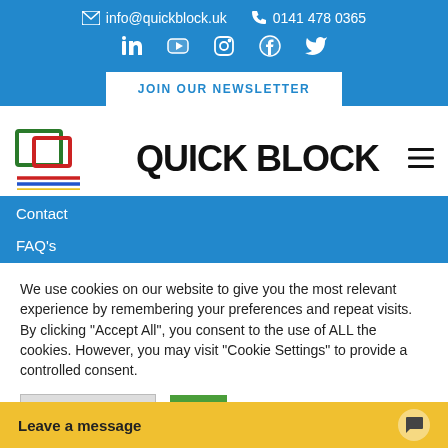info@quickblock.uk  0141 478 0365
[Figure (logo): Social media icons: LinkedIn, YouTube, Instagram, Facebook, Twitter (white icons on blue background)]
JOIN OUR NEWSLETTER
[Figure (logo): Quick Block logo - stylized overlapping rectangles in green, red, blue and yellow lines, with text QUICK BLOCK in bold black]
Contact
FAQ's
We use cookies on our website to give you the most relevant experience by remembering your preferences and repeat visits. By clicking "Accept All", you consent to the use of ALL the cookies. However, you may visit "Cookie Settings" to provide a controlled consent.
Cookie Settings  Accept All
Leave a message